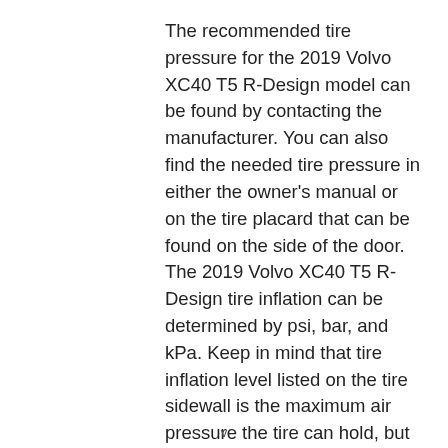The recommended tire pressure for the 2019 Volvo XC40 T5 R-Design model can be found by contacting the manufacturer. You can also find the needed tire pressure in either the owner's manual or on the tire placard that can be found on the side of the door. The 2019 Volvo XC40 T5 R-Design tire inflation can be determined by psi, bar, and kPa. Keep in mind that tire inflation level listed on the tire sidewall is the maximum air pressure the tire can hold, but not necessarily the recommended tire pressure level for the
v